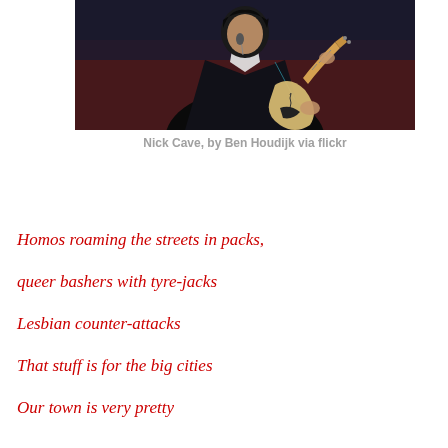[Figure (photo): A man in a dark suit playing a semi-hollow electric guitar (Telecaster-style) at a microphone, photographed from the chest up against a dark background.]
Nick Cave, by Ben Houdijk via flickr
Homos roaming the streets in packs,
queer bashers with tyre-jacks
Lesbian counter-attacks
That stuff is for the big cities
Our town is very pretty